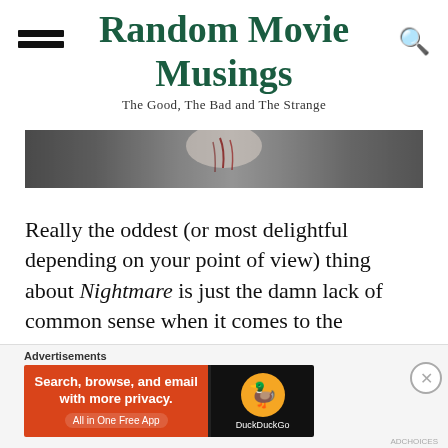Random Movie Musings
The Good, The Bad and The Strange
[Figure (photo): Partial hero image showing a dark horror-themed scene with red/dark tones, partially obscured]
Really the oddest (or most delightful depending on your point of view) thing about Nightmare is just the damn lack of common sense when it comes to the
[Figure (infographic): DuckDuckGo advertisement banner: 'Search, browse, and email with more privacy. All in One Free App' with DuckDuckGo logo on dark background]